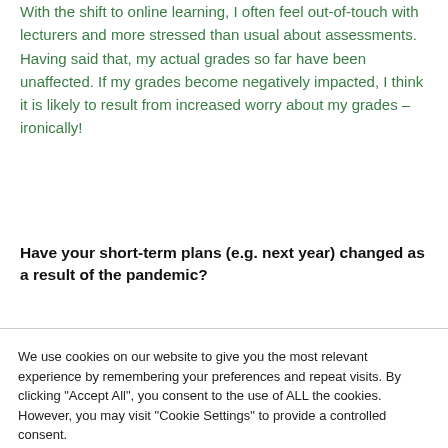With the shift to online learning, I often feel out-of-touch with lecturers and more stressed than usual about assessments. Having said that, my actual grades so far have been unaffected. If my grades become negatively impacted, I think it is likely to result from increased worry about my grades – ironically!
Have your short-term plans (e.g. next year) changed as a result of the pandemic?
We use cookies on our website to give you the most relevant experience by remembering your preferences and repeat visits. By clicking "Accept All", you consent to the use of ALL the cookies. However, you may visit "Cookie Settings" to provide a controlled consent.